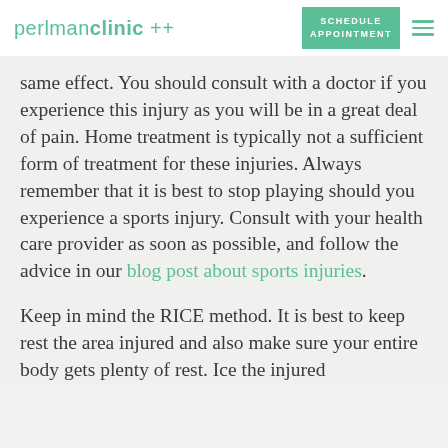perlmanclinic ++ | SCHEDULE APPOINTMENT
same effect. You should consult with a doctor if you experience this injury as you will be in a great deal of pain. Home treatment is typically not a sufficient form of treatment for these injuries. Always remember that it is best to stop playing should you experience a sports injury. Consult with your health care provider as soon as possible, and follow the advice in our blog post about sports injuries.
Keep in mind the RICE method. It is best to keep rest the area injured and also make sure your entire body gets plenty of rest. Ice the injured